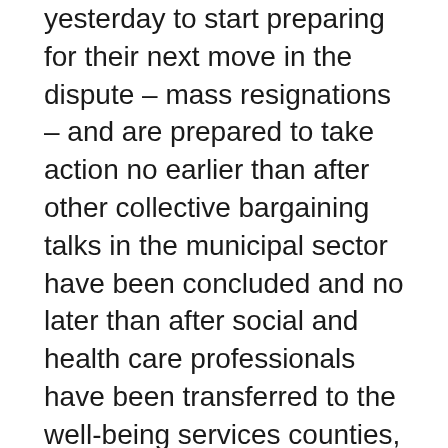yesterday to start preparing for their next move in the dispute – mass resignations – and are prepared to take action no earlier than after other collective bargaining talks in the municipal sector have been concluded and no later than after social and health care professionals have been transferred to the well-being services counties, at the turn of the year. “We nurses are in no rush in this situation. We’ll bide our time. We won’t make a bad deal,” she said. “We’ll see when the employer wants to buy industrial peace from us.” Elina Pylkkänen, the chairperson of the board appointed by Minister of Employment Tuula Haatainen (SDP), admitted to being